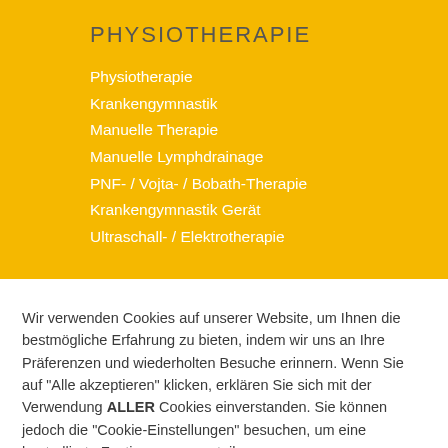PHYSIOTHERAPIE
Physiotherapie
Krankengymnastik
Manuelle Therapie
Manuelle Lymphdrainage
PNF- / Vojta- / Bobath-Therapie
Krankengymnastik Gerät
Ultraschall- / Elektrotherapie
Wir verwenden Cookies auf unserer Website, um Ihnen die bestmögliche Erfahrung zu bieten, indem wir uns an Ihre Präferenzen und wiederholten Besuche erinnern. Wenn Sie auf "Alle akzeptieren" klicken, erklären Sie sich mit der Verwendung ALLER Cookies einverstanden. Sie können jedoch die "Cookie-Einstellungen" besuchen, um eine kontrollierte Zustimmung zu erteilen.
Cookie Einstellungen
Alle akzeptieren